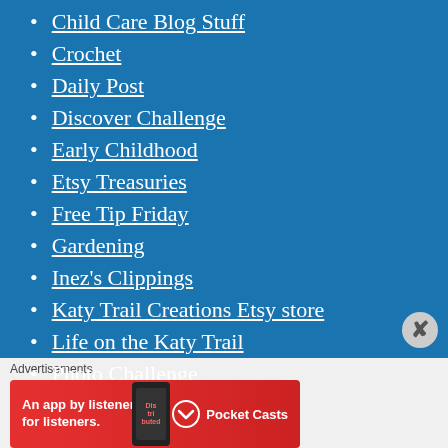Child Care Blog Stuff
Crochet
Daily Post
Discover Challenge
Early Childhood
Etsy Treasuries
Free Tip Friday
Gardening
Inez's Clippings
Katy Trail Creations Etsy store
Life on the Katy Trail
Photo Challenge
Quilting
Quilting
Advertisements
[Figure (screenshot): Pocket Casts advertisement banner: red background with text 'An app by listeners, for listeners.' and Pocket Casts logo on the right, phone image in the middle.]